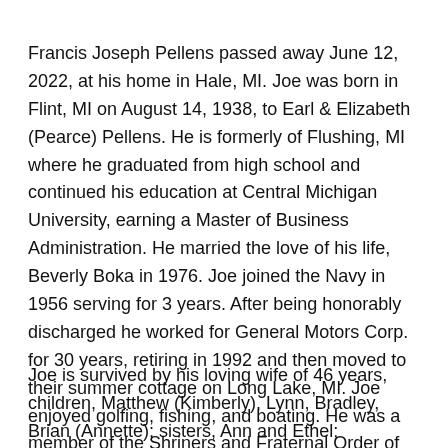Francis Joseph Pellens passed away June 12, 2022, at his home in Hale, MI. Joe was born in Flint, MI on August 14, 1938, to Earl & Elizabeth (Pearce) Pellens. He is formerly of Flushing, MI where he graduated from high school and continued his education at Central Michigan University, earning a Master of Business Administration. He married the love of his life, Beverly Boka in 1976. Joe joined the Navy in 1956 serving for 3 years. After being honorably discharged he worked for General Motors Corp. for 30 years, retiring in 1992 and then moved to their summer cottage on Long Lake, MI. Joe enjoyed golfing, fishing, and boating. He was a member of the Shriners and Fraternal Order of Eagles.
Joe is survived by his loving wife of 46 years, children, Matthew (Kimberly), Lynn, Bradley, Brian (Annette); sisters, Ann and Ethel; grandchildren, Chris, Ryan, Kyle (Nikki)